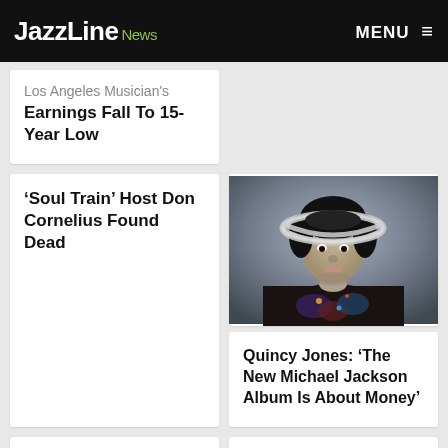JazzLine News  MENU
Los Angeles Musician's Earnings Fall To 15-Year Low
'Soul Train' Host Don Cornelius Found Dead
[Figure (photo): Portrait photo of person wearing metallic hat, colorful outfit against gray background — associated with Quincy Jones Michael Jackson article]
Quincy Jones: 'The New Michael Jackson Album Is About Money'
George Duke Dies, Aged 67
Amy Winehouse and Tony Bennett Release 'Body & Soul' Duet